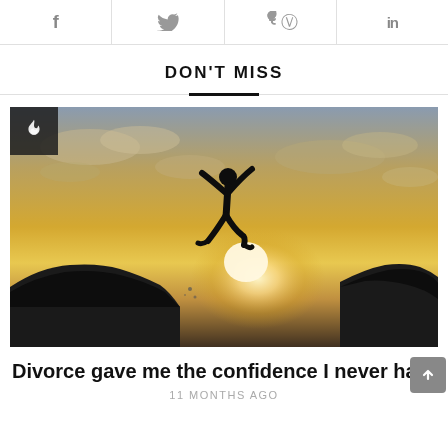f  [twitter]  [pinterest]  in
DON'T MISS
[Figure (photo): Silhouette of a person jumping between two rocky cliffs against a golden sunset sky with clouds]
Divorce gave me the confidence I never had
11 MONTHS AGO